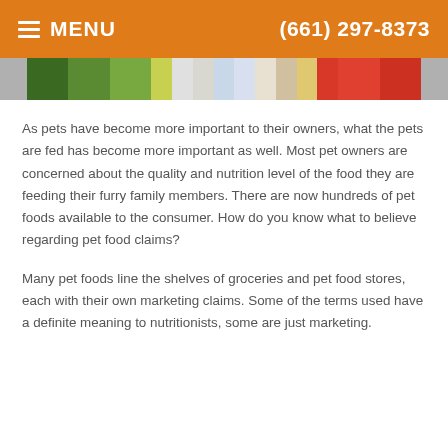MENU   (661) 297-8373
[Figure (photo): A colorful strip image showing pet food products on shelves with various packaging colors including green, white, red, and other colors.]
As pets have become more important to their owners, what the pets are fed has become more important as well. Most pet owners are concerned about the quality and nutrition level of the food they are feeding their furry family members. There are now hundreds of pet foods available to the consumer. How do you know what to believe regarding pet food claims?
Many pet foods line the shelves of groceries and pet food stores, each with their own marketing claims. Some of the terms used have a definite meaning to nutritionists, some are just marketing.